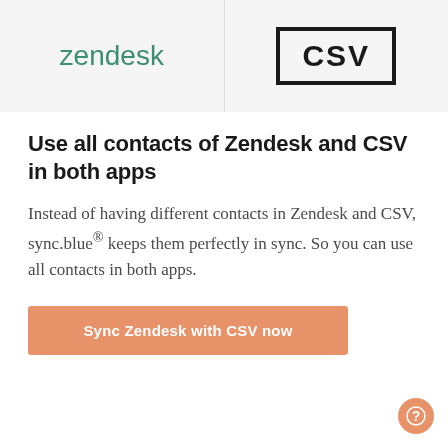[Figure (logo): Zendesk logo (green text) on grey background on the left, and CSV text in bold black inside a thick black rectangle border on grey background on the right, side by side]
Use all contacts of Zendesk and CSV in both apps
Instead of having different contacts in Zendesk and CSV, sync.blue® keeps them perfectly in sync. So you can use all contacts in both apps.
Sync Zendesk with CSV now